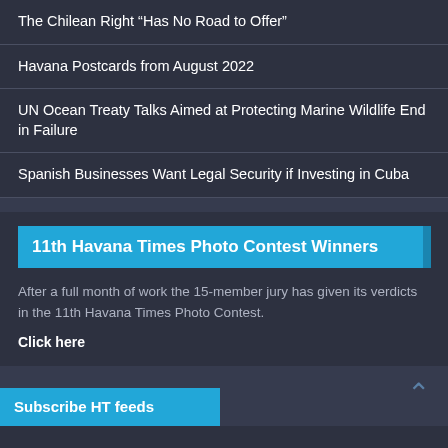The Chilean Right “Has No Road to Offer”
Havana Postcards from August 2022
UN Ocean Treaty Talks Aimed at Protecting Marine Wildlife End in Failure
Spanish Businesses Want Legal Security if Investing in Cuba
11th Havana Times Photo Contest Winners
After a full month of work the 15-member jury has given its verdicts in the 11th Havana Times Photo Contest.
Click here
Subscribe HT feeds